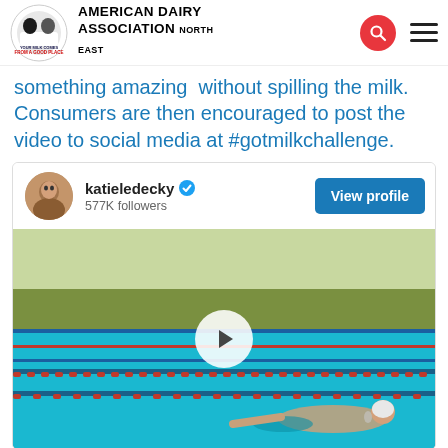American Dairy Association North East
something amazing  without spilling the milk. Consumers are then encouraged to post the video to social media at #gotmilkchallenge.
[Figure (screenshot): Social media profile card for katieledecky with 577K followers and View profile button, followed by a video thumbnail of a swimmer in a pool with a play button overlay]